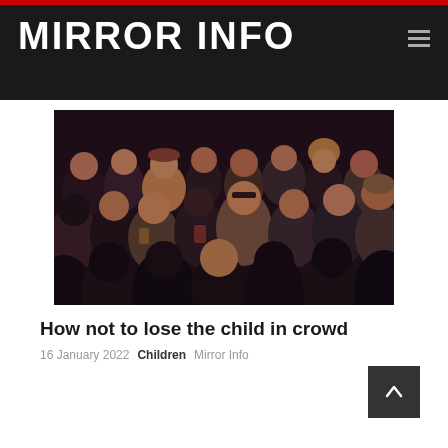MIRROR INFO
[Figure (photo): Crowd of people at an event, dark ambient lighting with faces visible]
How not to lose the child in crowd
16 January 2022   Children   Mirror Info